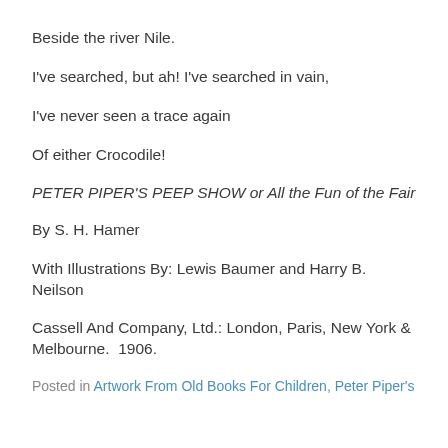Beside the river Nile.
I've searched, but ah! I've searched in vain,
I've never seen a trace again
Of either Crocodile!
PETER PIPER'S PEEP SHOW or All the Fun of the Fair
By S. H. Hamer
With Illustrations By: Lewis Baumer and Harry B. Neilson
Cassell And Company, Ltd.: London, Paris, New York & Melbourne.  1906.
Posted in Artwork From Old Books For Children, Peter Piper's